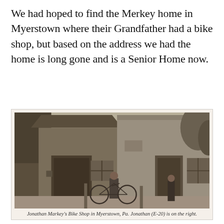We had hoped to find the Merkey home in Myerstown where their Grandfather had a bike shop, but based on the address we had the home is long gone and is a Senior Home now.
[Figure (photo): Black and white historical photograph of Jonathan Markey's Bike Shop in Myerstown, Pa. Shows a simple building with a large wooden door on the left and an entrance on the right. A man is standing with a bicycle in front of the shop. Trees are visible on the right side.]
Jonathan Markey's Bike Shop in Myerstown, Pa. Jonathan (E-20) is on the right.